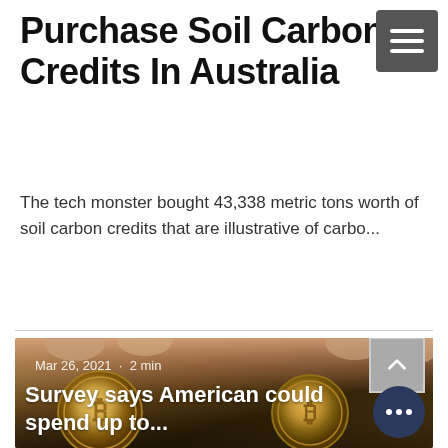Purchase Soil Carbon Credits In Australia
The tech monster bought 43,338 metric tons worth of soil carbon credits that are illustrative of carbo...
[Figure (photo): Two gold Bitcoin coins held between fingers, with article overlay text reading 'Survey says American could spend up to...' and date 'Mar 26, 2021 · 2 min']
Survey says American could spend up to...
Mar 26, 2021 · 2 min